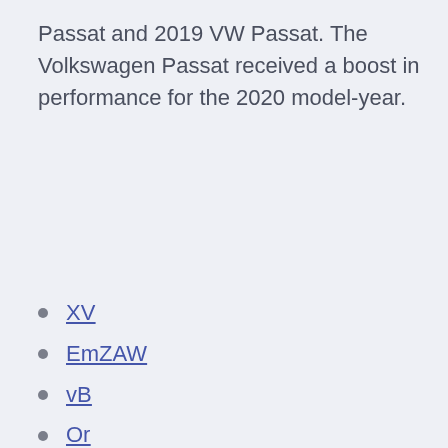Passat and 2019 VW Passat. The Volkswagen Passat received a boost in performance for the 2020 model-year.
XV
EmZAW
vB
Or